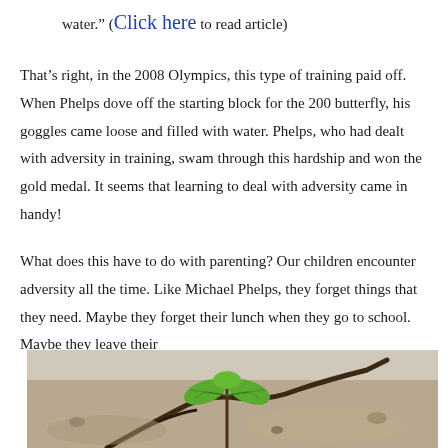water.” (Click here to read article)
That’s right, in the 2008 Olympics, this type of training paid off. When Phelps dove off the starting block for the 200 butterfly, his goggles came loose and filled with water. Phelps, who had dealt with adversity in training, swam through this hardship and won the gold medal. It seems that learning to deal with adversity came in handy!
What does this have to do with parenting? Our children encounter adversity all the time. Like Michael Phelps, they forget things that they need. Maybe they forget their lunch when they go to school. Maybe they leave their
[Figure (photo): A small green seedling with three leaves growing through a crack in dry, rocky soil or concrete. The plant is centered in the image against a blurred sandy/rocky background.]